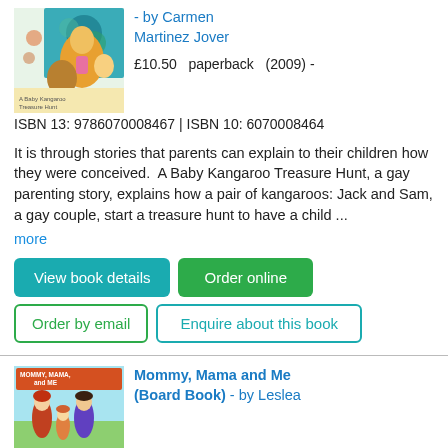[Figure (illustration): Book cover illustration of a colorful children's book about gay parenting, featuring cartoon kangaroo characters]
- by Carmen Martinez Jover
£10.50   paperback   (2009) - ISBN 13: 9786070008467 | ISBN 10: 6070008464
It is through stories that parents can explain to their children how they were conceived.  A Baby Kangaroo Treasure Hunt, a gay parenting story, explains how a pair of kangaroos: Jack and Sam, a gay couple, start a treasure hunt to have a child ...
more
View book details
Order online
Order by email
Enquire about this book
[Figure (illustration): Book cover of Mommy, Mama and Me (Board Book) with children illustration]
Mommy, Mama and Me (Board Book) - by Leslea